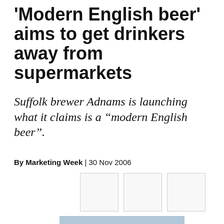'Modern English beer' aims to get drinkers away from supermarkets
Suffolk brewer Adnams is launching what it claims is a “modern English beer”.
By Marketing Week | 30 Nov 2006
[Figure (other): Three social share icon boxes (empty/placeholder squares)]
[Figure (photo): Photo of a tall beer glass filled with amber beer bearing Adnams branding, next to a large tap/pump, with a wintry field in the background]